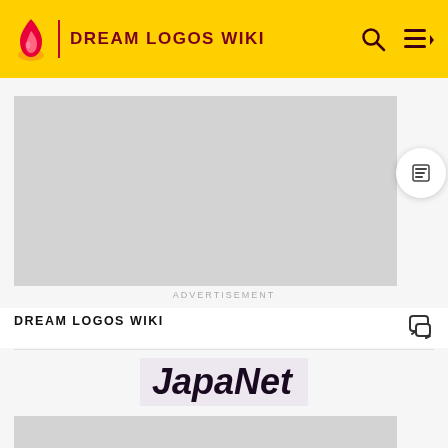DREAM LOGOS WIKI
[Figure (other): Advertisement placeholder rectangle (gray)]
ADVERTISEMENT
DREAM LOGOS WIKI
JapaNet
[Figure (other): Image placeholder rectangle (gray), partially visible at bottom]